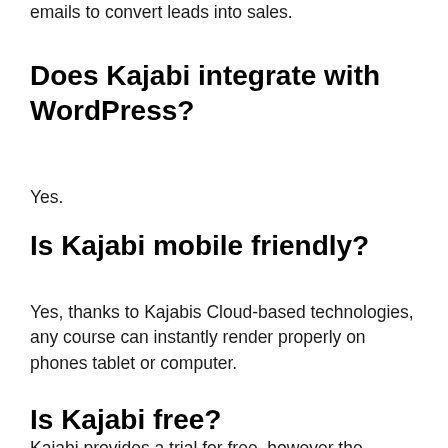emails to convert leads into sales.
Does Kajabi integrate with WordPress?
Yes.
Is Kajabi mobile friendly?
Yes, thanks to Kajabis Cloud-based technologies, any course can instantly render properly on phones tablet or computer.
Is Kajabi free?
Kajabi provides a trial for free, however the...